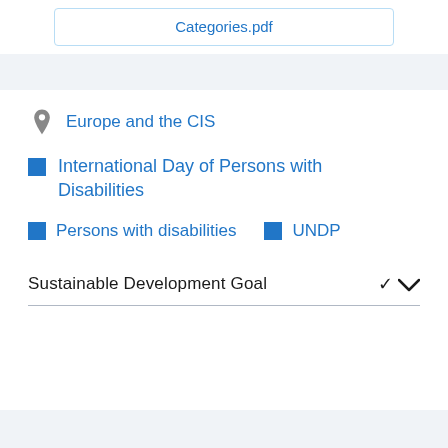Categories.pdf
Europe and the CIS
International Day of Persons with Disabilities
Persons with disabilities
UNDP
Sustainable Development Goal